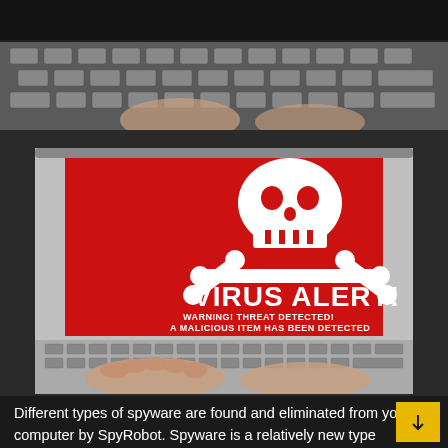[Figure (photo): Close-up photo of hands typing on a laptop keyboard, dark moody background, top strip]
[Figure (photo): Laptop screen showing a red VIRUS ALERT screen with skull and crossbones icon, text reads VIRUS ALERT! WARNING! THREAT DETECTED! A MALICIOUS ITEM HAS BEEN DETECTED, hands visible on keyboard below]
Different types of spyware are found and eliminated from your computer by SpyRobot. Spyware is a relatively new type